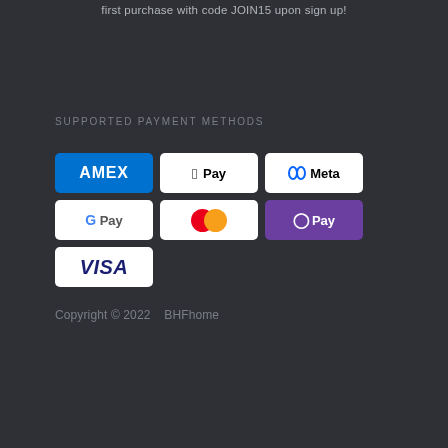first purchase with code JOIN15 upon sign up!
SUPPORTED PAYMENT METHODS
[Figure (infographic): Payment method logos: American Express (AMEX), Apple Pay, Meta Pay, Google Pay, Mastercard, D Pay (purple), and Visa]
Copyright © 2022   BHFhome